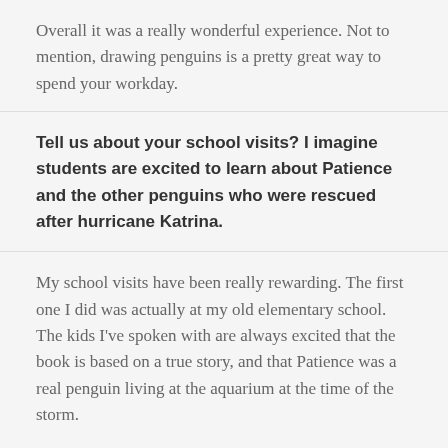Overall it was a really wonderful experience. Not to mention, drawing penguins is a pretty great way to spend your workday.
Tell us about your school visits? I imagine students are excited to learn about Patience and the other penguins who were rescued after hurricane Katrina.
My school visits have been really rewarding. The first one I did was actually at my old elementary school. The kids I’ve spoken with are always excited that the book is based on a true story, and that Patience was a real penguin living at the aquarium at the time of the storm.